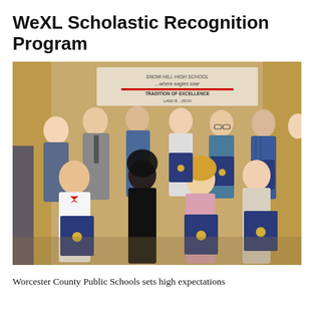WeXL Scholastic Recognition Program
[Figure (photo): Group photo of approximately 12 students holding blue diploma/certificate folders at an awards ceremony. Students are posed in two rows in front of a banner reading 'where eagles soar - Tradition of Excellence'. One male student in the front left wears a red bow tie and white shirt. Several students hold blue folders with gold seals.]
Worcester County Public Schools sets high expectations